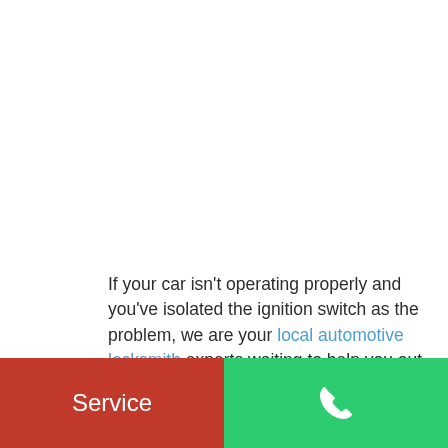If your car isn't operating properly and you've isolated the ignition switch as the problem, we are your local automotive locksmith experts waiting to help you out. With close locations and fast response times, you'll be back on the road in no time.
Service
[Figure (illustration): Phone/call icon in white on green background]